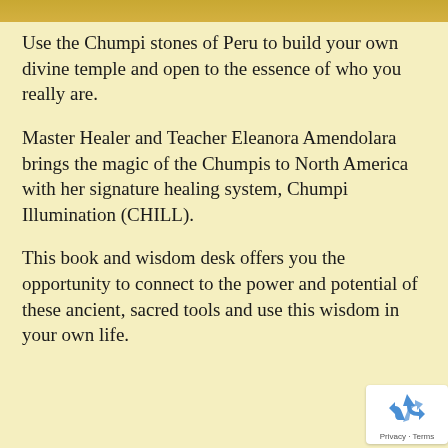[Figure (photo): Top strip showing a golden/yellow decorative image at the very top of the page]
Use the Chumpi stones of Peru to build your own divine temple and open to the essence of who you really are.
Master Healer and Teacher Eleanora Amendolara brings the magic of the Chumpis to North America with her signature healing system, Chumpi Illumination (CHILL).
This book and wisdom desk offers you the opportunity to connect to the power and potential of these ancient, sacred tools and use this wisdom in your own life.
[Figure (logo): reCAPTCHA badge with blue recycling-arrows icon and Privacy - Terms text]